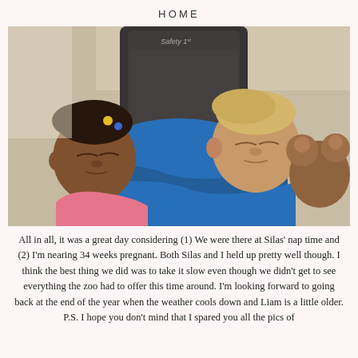HOME
[Figure (photo): Two young children sleeping in a car, one leaning on a Safety 1st car seat. The boy on the right wears a blue shirt and holds a stuffed animal; the girl on the left wears a pink top and has braided hair with colorful clips.]
All in all, it was a great day considering (1) We were there at Silas' nap time and (2) I'm nearing 34 weeks pregnant. Both Silas and I held up pretty well though. I think the best thing we did was to take it slow even though we didn't get to see everything the zoo had to offer this time around. I'm looking forward to going back at the end of the year when the weather cools down and Liam is a little older.
P.S. I hope you don't mind that I spared you all the pics of